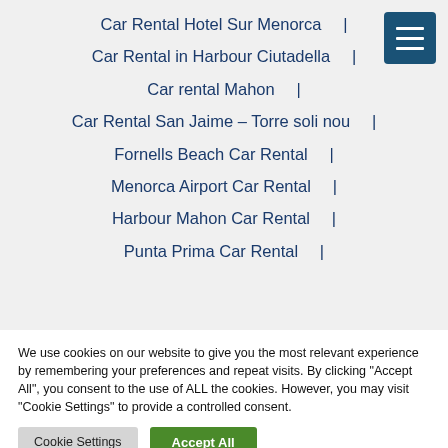Car Rental Hotel Sur Menorca  |
Car Rental in Harbour Ciutadella  |
Car rental Mahon  |
Car Rental San Jaime – Torre soli nou  |
Fornells Beach Car Rental  |
Menorca Airport Car Rental  |
Harbour Mahon Car Rental  |
Punta Prima Car Rental  |
We use cookies on our website to give you the most relevant experience by remembering your preferences and repeat visits. By clicking "Accept All", you consent to the use of ALL the cookies. However, you may visit "Cookie Settings" to provide a controlled consent.